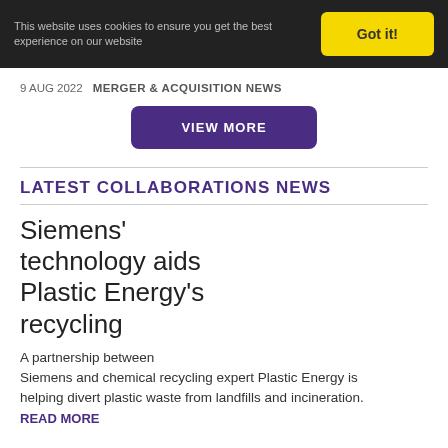This website uses cookies to ensure you get the best experience on our website
Got it!
9 AUG 2022   MERGER & ACQUISITION NEWS
VIEW MORE
LATEST COLLABORATIONS NEWS
Siemens' technology aids Plastic Energy's recycling
A partnership between Siemens and chemical recycling expert Plastic Energy is helping divert plastic waste from landfills and incineration.
READ MORE